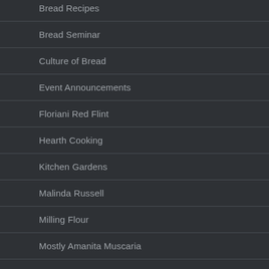Bread Recipes
Bread Seminar
Culture of Bread
Event Announcements
Floriani Red Flint
Hearth Cooking
Kitchen Gardens
Malinda Russell
Milling Flour
Mostly Amanita Muscaria
Published Articles
Recipes